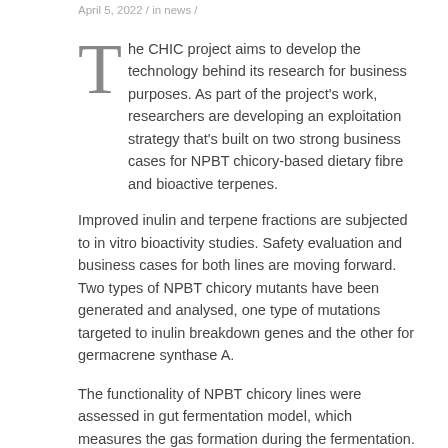April 5, 2022 / in news /
The CHIC project aims to develop the technology behind its research for business purposes. As part of the project's work, researchers are developing an exploitation strategy that's built on two strong business cases for NPBT chicory-based dietary fibre and bioactive terpenes.
Improved inulin and terpene fractions are subjected to in vitro bioactivity studies. Safety evaluation and business cases for both lines are moving forward. Two types of NPBT chicory mutants have been generated and analysed, one type of mutations targeted to inulin breakdown genes and the other for germacrene synthase A.
The functionality of NPBT chicory lines were assessed in gut fermentation model, which measures the gas formation during the fermentation. These studies showed slightly lower gas formation in NPBT chicory compared to